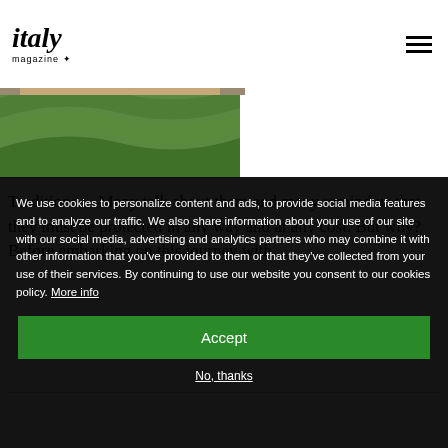italy magazine
by Anonymous (not verified) | Mon, 11/30/2020 - 03:08
[Figure (photo): Aerial view of terraced vineyard hills in green]
Traditions… Many talk about them and many remind us that they must be protected in any way and at any cost. But why? Before embarking on this journey with…
[Figure (photo): Exterior of Livorno's Central Market building with arched windows and blue sky]
LIFE + STYLE
Livorno's Central Market is a Feast For
We use cookies to personalize content and ads, to provide social media features and to analyze our traffic. We also share information about your use of our site with our social media, advertising and analytics partners who may combine it with other information that you've provided to them or that they've collected from your use of their services. By continuing to use our website you consent to our cookies policy. More info
Accept
No, thanks